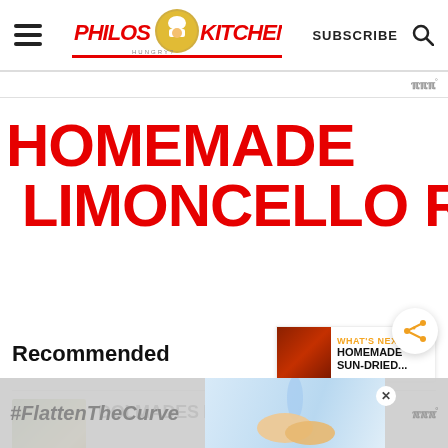[Figure (screenshot): Philos Kitchen website logo with chef illustration]
SUBSCRIBE
HOMEMADE LIMONCELLO RECIPE
Recommended
WHAT'S NEXT → HOMEMADE SUN-DRIED...
DOLMADES RECIPE:
#FlattenTheCurve